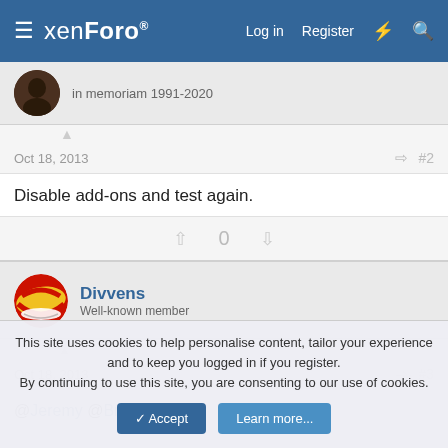xenForo — Log in  Register
in memoriam 1991-2020
Oct 18, 2013  #2
Disable add-ons and test again.
0
Divvens
Well-known member
Oct 18, 2013  #3
@Jeremy @Brogan
This site uses cookies to help personalise content, tailor your experience and to keep you logged in if you register.
By continuing to use this site, you are consenting to our use of cookies.